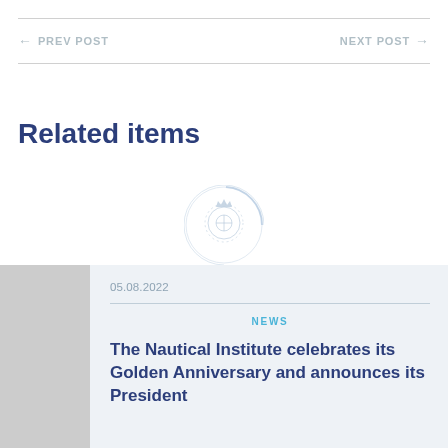← PREV POST    NEXT POST →
Related items
[Figure (logo): Nautical Institute circular emblem/crest logo in light blue]
05.08.2022
NEWS
The Nautical Institute celebrates its Golden Anniversary and announces its President